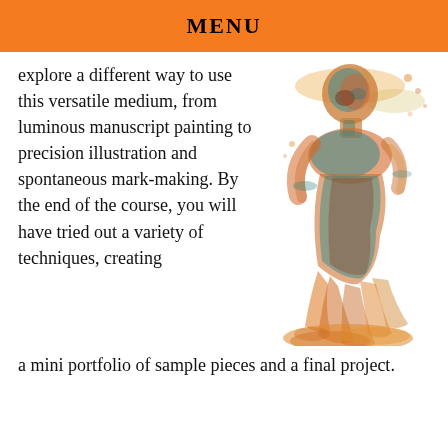MENU
explore a different way to use this versatile medium, from luminous manuscript painting to precision illustration and spontaneous mark-making. By the end of the course, you will have tried out a variety of techniques, creating a mini portfolio of sample pieces and a final project.
[Figure (illustration): Watercolor painting of a human figure rendered in flowing blues, oranges, teals and reds, appearing to dissolve into paint splashes at the bottom]